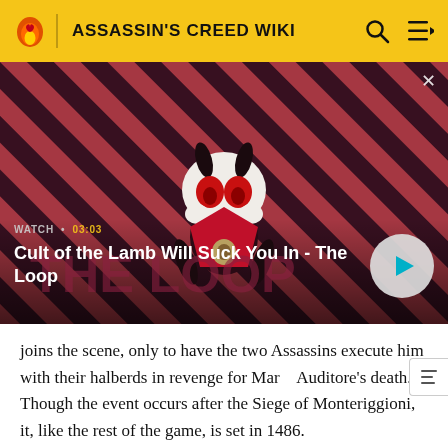ASSASSIN'S CREED WIKI
[Figure (screenshot): Video thumbnail showing Cult of the Lamb character with diagonal red and dark stripe background, with play button overlay]
WATCH • 03:03
Cult of the Lamb Will Suck You In - The Loop
joins the scene, only to have the two Assassins execute him with their halberds in revenge for Mario Auditore's death. Though the event occurs after the Siege of Monteriggioni, it, like the rest of the game, is set in 1486.